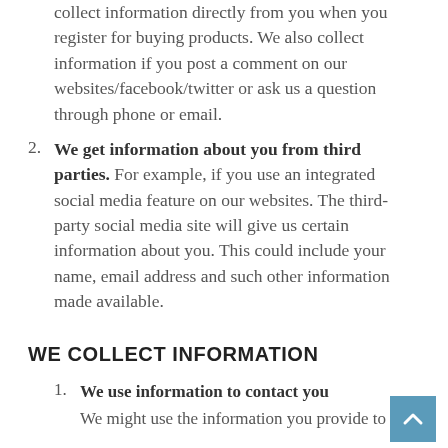collect information directly from you when you register for buying products. We also collect information if you post a comment on our websites/facebook/twitter or ask us a question through phone or email.
2. We get information about you from third parties. For example, if you use an integrated social media feature on our websites. The third-party social media site will give us certain information about you. This could include your name, email address and such other information made available.
WE COLLECT INFORMATION
1. We use information to contact you
We might use the information you provide to